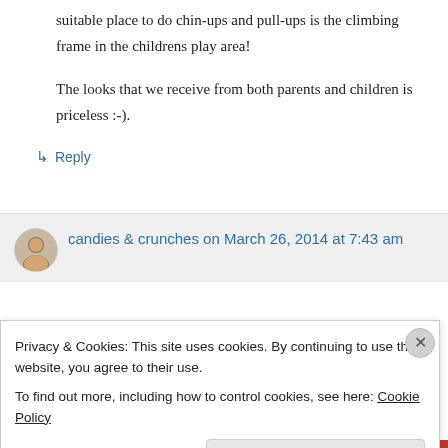suitable place to do chin-ups and pull-ups is the climbing frame in the childrens play area!
The looks that we receive from both parents and children is priceless :-).
↳ Reply
candies & crunches on March 26, 2014 at 7:43 am
Privacy & Cookies: This site uses cookies. By continuing to use this website, you agree to their use.
To find out more, including how to control cookies, see here: Cookie Policy
Close and accept